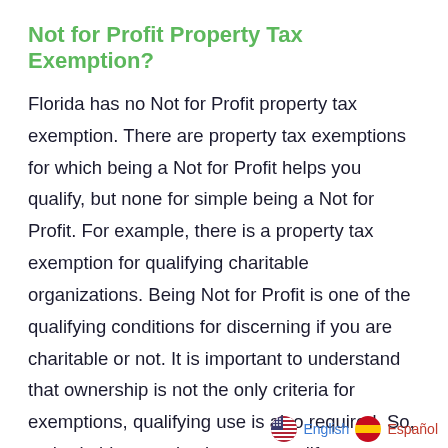Not for Profit Property Tax Exemption?
Florida has no Not for Profit property tax exemption. There are property tax exemptions for which being a Not for Profit helps you qualify, but none for simple being a Not for Profit. For example, there is a property tax exemption for qualifying charitable organizations. Being Not for Profit is one of the qualifying conditions for discerning if you are charitable or not. It is important to understand that ownership is not the only criteria for exemptions, qualifying use is also required. So, a charitable organization may qualify a property for exemption if they are a
English  Español